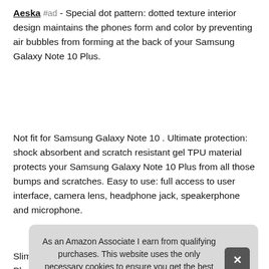Aeska #ad - Special dot pattern: dotted texture interior design maintains the phones form and color by preventing air bubbles from forming at the back of your Samsung Galaxy Note 10 Plus.
Not fit for Samsung Galaxy Note 10 . Ultimate protection: shock absorbent and scratch resistant gel TPU material protects your Samsung Galaxy Note 10 Plus from all those bumps and scratches. Easy to use: full access to user interface, camera lens, headphone jack, speakerphone and microphone.
More information #ad
Slim Plus thin TPU this
As an Amazon Associate I earn from qualifying purchases. This website uses the only necessary cookies to ensure you get the best experience on our website. More information